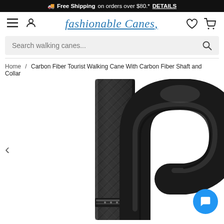🚚 Free Shipping on orders over $80.* DETAILS
[Figure (logo): Fashionable Canes logo in blue italic script with underline]
Search walking canes...
Home / Carbon Fiber Tourist Walking Cane With Carbon Fiber Shaft and Collar
[Figure (photo): Close-up product photo of a carbon fiber walking cane showing a textured woven carbon fiber shaft on the left and a shiny black crook handle on the right against a white background]